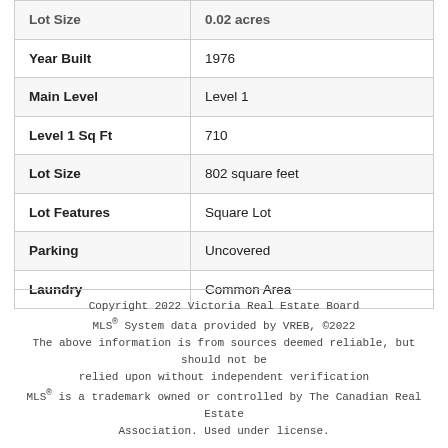| Property Feature | Value |
| --- | --- |
| Lot Size | 0.02 acres |
| Year Built | 1976 |
| Main Level | Level 1 |
| Level 1 Sq Ft | 710 |
| Lot Size | 802 square feet |
| Lot Features | Square Lot |
| Parking | Uncovered |
| Laundry | Common Area |
Copyright 2022 Victoria Real Estate Board
MLS® System data provided by VREB, ©2022
The above information is from sources deemed reliable, but should not be relied upon without independent verification
MLS® is a trademark owned or controlled by The Canadian Real Estate Association. Used under license.